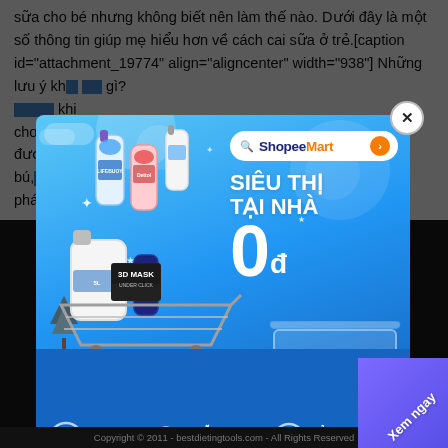sữa cho bé nhưng không biết nên làm thế nào. Dưới đây là một số thông tin giúp mẹ hiểu hơn về cách cai sữa ở trẻ.[caption id="attachment_19774" align="aligncenter" width="938"] Những lưu ý kh... gì? kho... khi cho... được... ho bú... thế phá...
[Figure (screenshot): ShopeeMart advertisement popup overlay on a Vietnamese article. The ad shows a blue background with household products in a shopping cart, text 'SIÊU THỊ TẠI NHÀ 0đ', ShopeeMart search button, and bottom bar with promotions: DEAL 0Đ MỖI NGÀY, MIỄN PHÍ VẬN CHUYỂN, XỬ LÝ ĐƠN HÀNG BỞI SHOPEE. A close button (X) is in the top right.]
Copyright © 2011 - bestdietingtools.com - All Rights Reserved